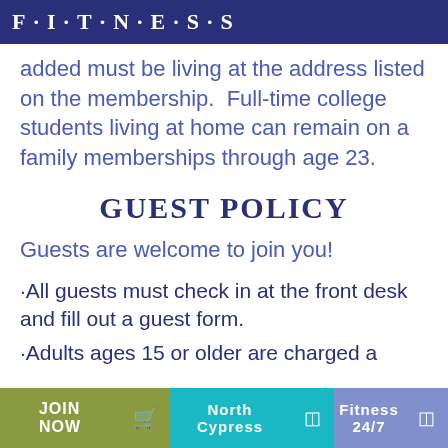F · I · T · N · E · S · S
added must be living at the address listed on the membership.  Full-time college students living at home can remain on a family memberships through age 23.
GUEST POLICY
Guests are welcome to join you!
·All guests must check in at the front desk and fill out a guest form.
·Adults ages 15 or older are charged a
JOIN NOW  North Cypress  Fitness 24/7